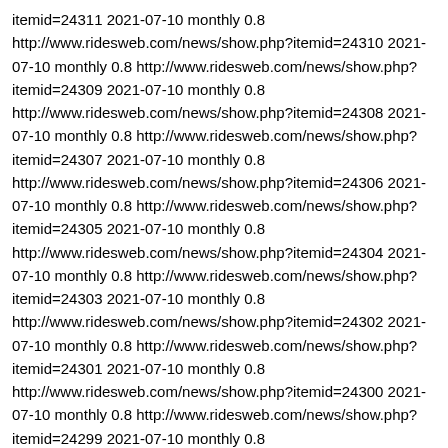itemid=24311 2021-07-10 monthly 0.8 http://www.ridesweb.com/news/show.php?itemid=24310 2021-07-10 monthly 0.8 http://www.ridesweb.com/news/show.php?itemid=24309 2021-07-10 monthly 0.8 http://www.ridesweb.com/news/show.php?itemid=24308 2021-07-10 monthly 0.8 http://www.ridesweb.com/news/show.php?itemid=24307 2021-07-10 monthly 0.8 http://www.ridesweb.com/news/show.php?itemid=24306 2021-07-10 monthly 0.8 http://www.ridesweb.com/news/show.php?itemid=24305 2021-07-10 monthly 0.8 http://www.ridesweb.com/news/show.php?itemid=24304 2021-07-10 monthly 0.8 http://www.ridesweb.com/news/show.php?itemid=24303 2021-07-10 monthly 0.8 http://www.ridesweb.com/news/show.php?itemid=24302 2021-07-10 monthly 0.8 http://www.ridesweb.com/news/show.php?itemid=24301 2021-07-10 monthly 0.8 http://www.ridesweb.com/news/show.php?itemid=24300 2021-07-10 monthly 0.8 http://www.ridesweb.com/news/show.php?itemid=24299 2021-07-10 monthly 0.8 http://www.ridesweb.com/news/show.php?itemid=24298 2021-07-10 monthly 0.8 http://www.ridesweb.com/news/show.php?itemid=24297 2021-07-10 monthly 0.8 http://www.ridesweb.com/news/show.php?itemid=24296 2021-07-10 monthly 0.8 http://www.ridesweb.com/news/show.php?itemid=24295 2021-07-10 monthly 0.8